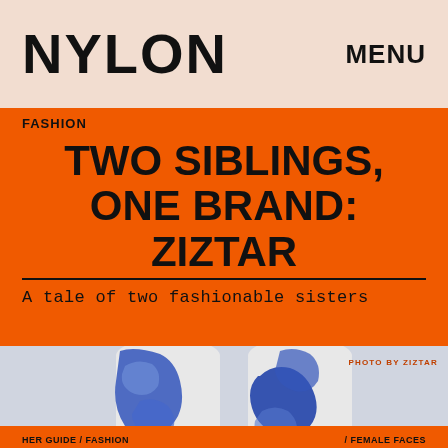NYLON   MENU
FASHION
TWO SIBLINGS, ONE BRAND: ZIZTAR
A tale of two fashionable sisters
[Figure (photo): Legs wearing blue abstract painted wide-leg pants with metallic silver/foil hem, photographed from waist down against a light grey background. Photo credit: PHOTO BY ZIZTAR]
HER GUIDE / FASHION   / FEMALE FACES